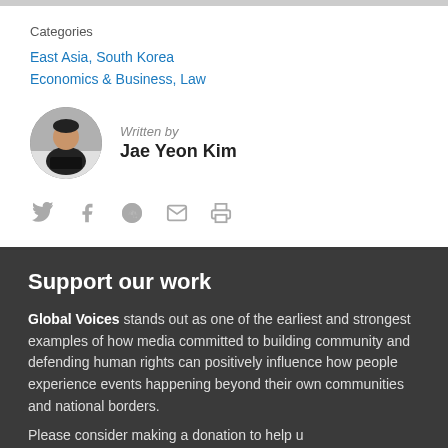Categories
East Asia, South Korea
Economics & Business, Law
Written by
Jae Yeon Kim
[Figure (infographic): Social share icons: Twitter, Facebook, Reddit, Email, Print]
Support our work
Global Voices stands out as one of the earliest and strongest examples of how media committed to building community and defending human rights can positively influence how people experience events happening beyond their own communities and national borders.
Please consider making a donation to help...